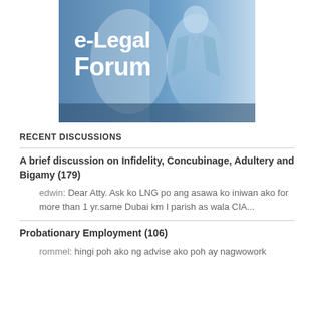[Figure (logo): e-Legal Forum logo with blue background and silhouette of a person in suit, white bold text reading 'e-Legal Forum']
RECENT DISCUSSIONS
A brief discussion on Infidelity, Concubinage, Adultery and Bigamy (179)
edwin: Dear Atty. Ask ko LNG po ang asawa ko iniwan ako for more than 1 yr.same Dubai km I parish as wala CIA...
Probationary Employment (106)
rommel: hingi poh ako ng advise ako poh ay nagwowork